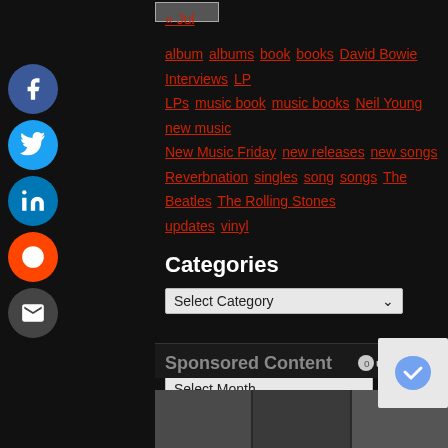[Figure (other): Navigation rectangle/button at top]
« Jul
album albums book books David Bowie Interviews LP LPs music book music books Neil Young new music New Music Friday new releases new songs Reverbnation singles song songs The Beatles The Rolling Stones updates vinyl
Categories
[Figure (other): Select Category dropdown]
Archives
[Figure (other): Select Month dropdown]
Sponsored Content
[Figure (logo): Outbrain logo]
[Figure (photo): Three image thumbnails at bottom]
[Figure (other): reCAPTCHA logo box]
[Figure (other): Social sharing icons: Facebook, Twitter, LinkedIn, Reddit, Email]